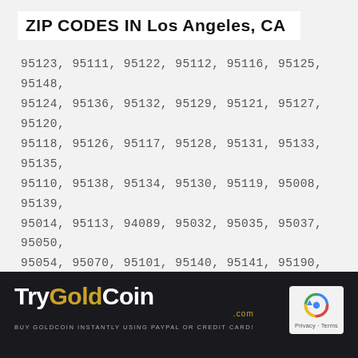ZIP CODES IN Los Angeles, CA
95123, 95111, 95122, 95112, 95116, 95125, 95148, 95124, 95136, 95132, 95129, 95121, 95127, 95120, 95118, 95126, 95117, 95128, 95131, 95133, 95135, 95110, 95138, 95134, 95130, 95119, 95008, 95139, 95014, 95113, 94089, 95032, 95035, 95037, 95050, 95054, 95070, 95101, 95140, 95141, 95190, 95191, 95192, 95193, 95194, 95196, 95002, 95013, 95103, 95106, 95108, 95109, 95115, 95150, 95151, 95152, 95153, 95154, 95155, 95156, 95157, 95158, 95159, 95160, 95161, 95164, 95170, 95172, 95173
TryGoldCoin.com — BUY GOLDCOIN INSTANTLY USING PAYPAL OR CREDIT CARD!